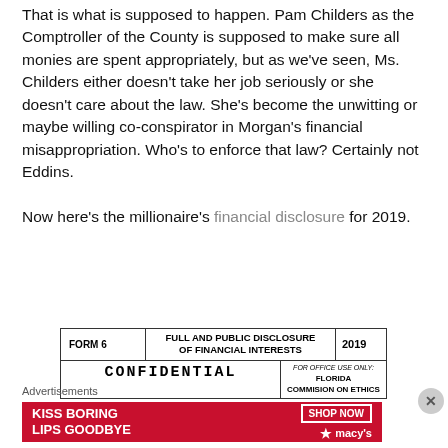That is what is supposed to happen. Pam Childers as the Comptroller of the County is supposed to make sure all monies are spent appropriately, but as we've seen, Ms. Childers either doesn't take her job seriously or she doesn't care about the law. She's become the unwitting or maybe willing co-conspirator in Morgan's financial misappropriation. Who's to enforce that law? Certainly not Eddins.
Now here's the millionaire's financial disclosure for 2019.
[Figure (screenshot): Form 6 Full and Public Disclosure of Financial Interests 2019 - CONFIDENTIAL header with Florida Commission on Ethics logo]
Advertisements
[Figure (photo): Macy's advertisement: KISS BORING LIPS GOODBYE - SHOP NOW - macys star logo, red background with woman's face]